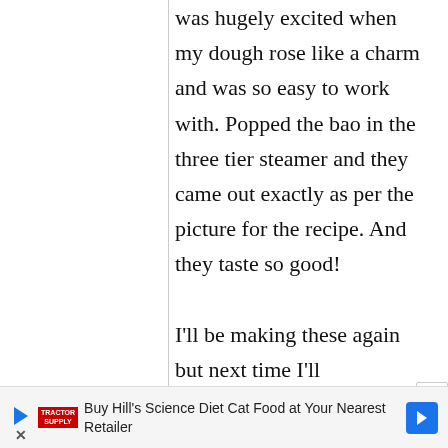was hugely excited when my dough rose like a charm and was so easy to work with. Popped the bao in the three tier steamer and they came out exactly as per the picture for the recipe. And they taste so good!

I'll be making these again but next time I'll
Buy Hill's Science Diet Cat Food at Your Nearest Retailer